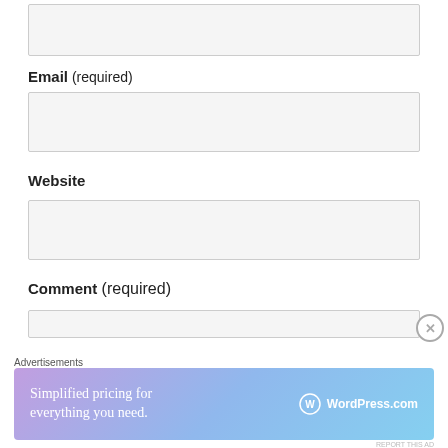Email (required)
[Figure (other): Empty input field for Email]
Website
[Figure (other): Empty input field for Website]
Comment (required)
[Figure (other): Empty text area for Comment (partially visible)]
Advertisements
[Figure (infographic): WordPress.com advertisement banner: Simplified pricing for everything you need. WordPress.com logo on right.]